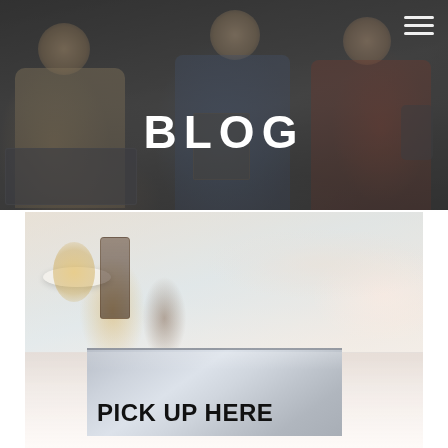[Figure (photo): Hero banner photo showing three people using digital devices (laptop, book/tablet, smartphone) sitting together, with a dark semi-transparent overlay. A hamburger menu icon appears in the top-right corner.]
BLOG
[Figure (photo): Photo of a metallic tent-card sign on a cafe counter that reads 'PICK UP HERE' in bold black letters, with blurred background showing cups and cafe items.]